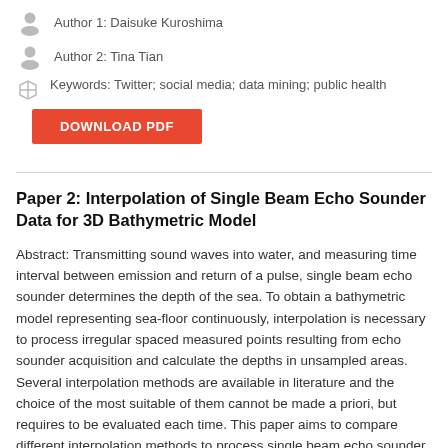Author 1: Daisuke Kuroshima
Author 2: Tina Tian
Keywords: Twitter; social media; data mining; public health
Paper 2: Interpolation of Single Beam Echo Sounder Data for 3D Bathymetric Model
Abstract: Transmitting sound waves into water, and measuring time interval between emission and return of a pulse, single beam echo sounder determines the depth of the sea. To obtain a bathymetric model representing sea-floor continuously, interpolation is necessary to process irregular spaced measured points resulting from echo sounder acquisition and calculate the depths in unsampled areas. Several interpolation methods are available in literature and the choice of the most suitable of them cannot be made a priori, but requires to be evaluated each time. This paper aims to compare different interpolation methods to process single beam echo sounder data of the Gulf of Pozzuoli